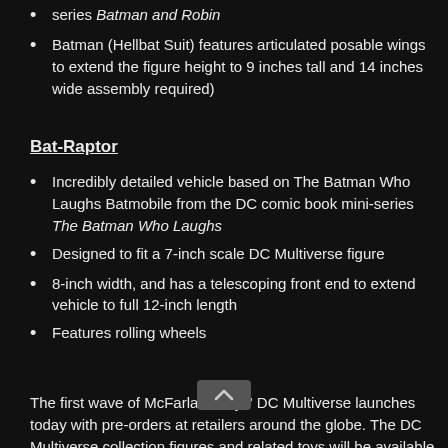series Batman and Robin
Batman (Hellbat Suit) features articulated posable wings to extend the figure height to 9 inches tall and 14 inches wide assembly required)
Bat-Raptor
Incredibly detailed vehicle based on The Batman Who Laughs Batmobile from the DC comic book mini-series The Batman Who Laughs
Designed to fit a 7-inch scale DC Multiverse figure
8-inch width, and has a telescoping front end to extend vehicle to full 12-inch length
Features rolling wheels
The first wave of McFarlane Toys' DC Multiverse launches today with pre-orders at retailers around the globe. The DC Multiverse collection figures and related toys will be available at major retail locations